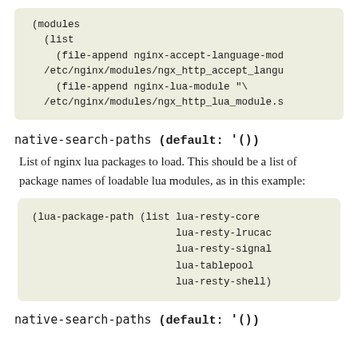[Figure (screenshot): Code block showing (modules (list (file-append nginx-accept-language-mod /etc/nginx/modules/ngx_http_accept_langu... (file-append nginx-lua-module \ /etc/nginx/modules/ngx_http_lua_module.s...]
native-search-paths (default: '())
List of nginx lua packages to load. This should be a list of package names of loadable lua modules, as in this example:
[Figure (screenshot): Code block showing (lua-package-path (list lua-resty-core lua-resty-lrucac lua-resty-signal lua-tablepool lua-resty-shell)]
native-search-paths (default: '())